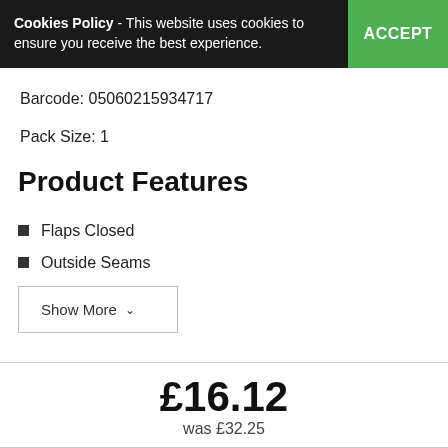Cookies Policy - This website uses cookies to ensure you receive the best experience. ACCEPT
Barcode: 05060215934717
Pack Size: 1
Product Features
Flaps Closed
Outside Seams
Show More
£16.12
was £32.25
In stock